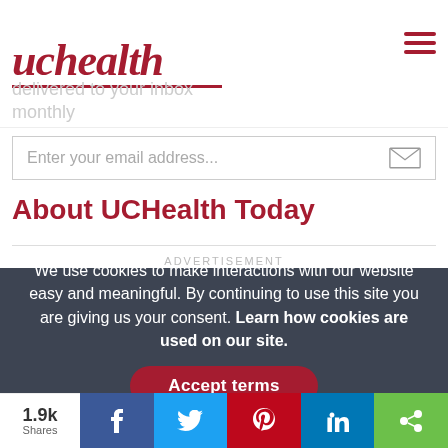[Figure (logo): UCHealth logo with red italic text and red underline]
delivered to your inbox monthly
Enter your email address...
About UCHealth Today
ADVERTISEMENT
We use cookies to make interactions with our website easy and meaningful. By continuing to use this site you are giving us your consent. Learn how cookies are used on our site.
Accept terms
1.9k Shares